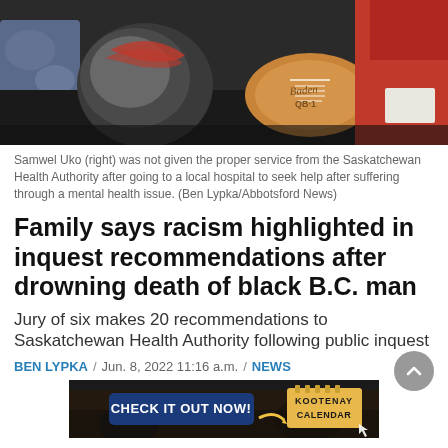[Figure (photo): Photo of Samwel Uko (right) seated at a table with a football helmet and a football (Baden QB1) in front, wearing a red shirt. Another person is partially visible to the left wearing a floral/patterned shirt. Dark table background.]
Samwel Uko (right) was not given the proper service from the Saskatchewan Health Authority after going to a local hospital to seek help after suffering through a mental health issue. (Ben Lypka/Abbotsford News)
Family says racism highlighted in inquest recommendations after drowning death of black B.C. man
Jury of six makes 20 recommendations to Saskatchewan Health Authority following public inquest
BEN LYPKA / Jun. 8, 2022 11:16 a.m. / NEWS
[Figure (infographic): Advertisement banner: CHECK IT OUT NOW! with Kootenay Calendar branding, dark background with crowd scene.]